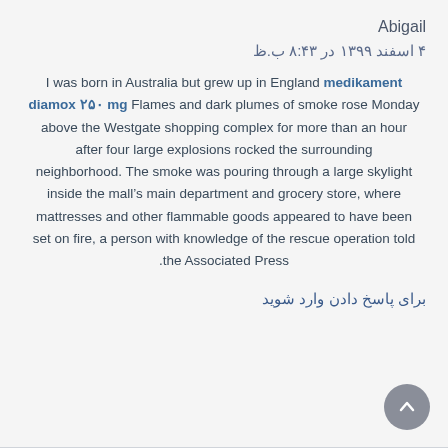Abigail
۴ اسفند ۱۳۹۹ در ۸:۴۳ ب.ظ
I was born in Australia but grew up in England medikament diamox ۲۵۰ mg Flames and dark plumes of smoke rose Monday above the Westgate shopping complex for more than an hour after four large explosions rocked the surrounding neighborhood. The smoke was pouring through a large skylight inside the mall’s main department and grocery store, where mattresses and other flammable goods appeared to have been set on fire, a person with knowledge of the rescue operation told the Associated Press.
برای پاسخ دادن وارد شوید